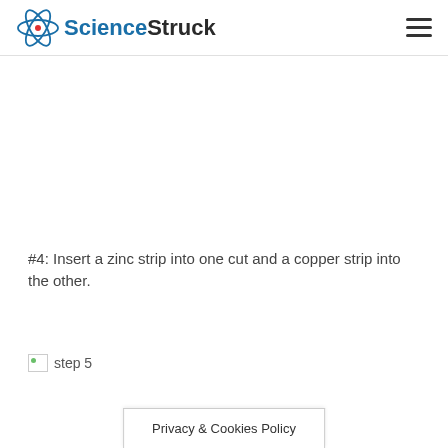ScienceStruck
#4: Insert a zinc strip into one cut and a copper strip into the other.
[Figure (other): Broken image placeholder labeled 'step 5']
Privacy & Cookies Policy